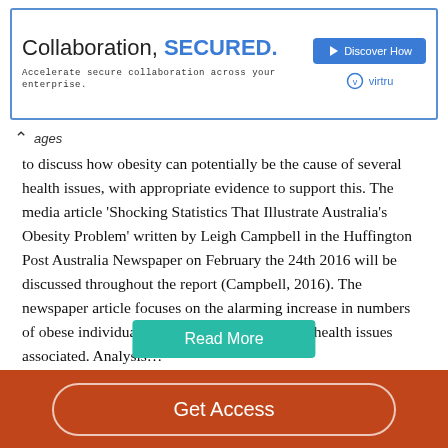[Figure (screenshot): Advertisement banner for Virtru collaboration security product with blue border. Shows 'Collaboration, SECURED.' headline, 'Accelerate secure collaboration across your enterprise.' subtext, 'Discover How' blue button, and Virtru logo.]
ages
to discuss how obesity can potentially be the cause of several health issues, with appropriate evidence to support this. The media article ‘Shocking Statistics That Illustrate Australia’s Obesity Problem’ written by Leigh Campbell in the Huffington Post Australia Newspaper on February the 24th 2016 will be discussed throughout the report (Campbell, 2016). The newspaper article focuses on the alarming increase in numbers of obese individuals in Australia and the many health issues associated. Analysis…
Read More
Get Access